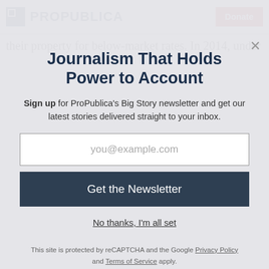ProPublica | Donate
their property for below-market rates. In 2014, under
Journalism That Holds Power to Account
Sign up for ProPublica's Big Story newsletter and get our latest stories delivered straight to your inbox.
you@example.com
Get the Newsletter
No thanks, I'm all set
This site is protected by reCAPTCHA and the Google Privacy Policy and Terms of Service apply.